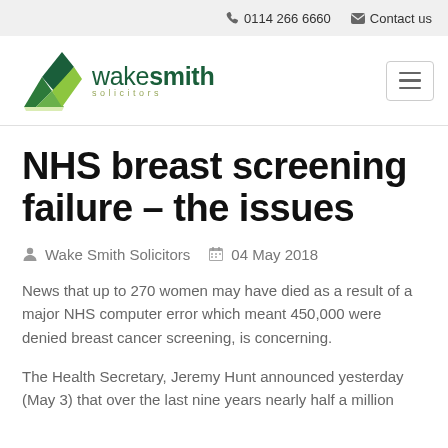0114 266 6660   Contact us
[Figure (logo): Wake Smith Solicitors logo with green geometric chevron/lightning bolt icon and green text 'wakesmith solicitors']
NHS breast screening failure – the issues
Wake Smith Solicitors   04 May 2018
News that up to 270 women may have died as a result of a major NHS computer error which meant 450,000 were denied breast cancer screening, is concerning.
The Health Secretary, Jeremy Hunt announced yesterday (May 3) that over the last nine years nearly half a million